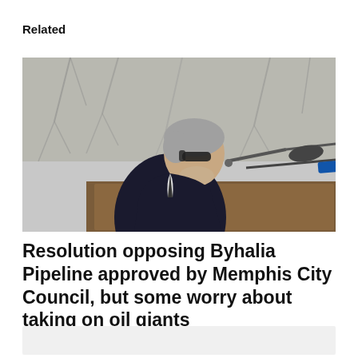Related
[Figure (photo): A man with gray hair and sunglasses speaking at a podium with microphones, photographed from the side in an outdoor setting with blurred tree branches in the background.]
Resolution opposing Byhalia Pipeline approved by Memphis City Council, but some worry about taking on oil giants